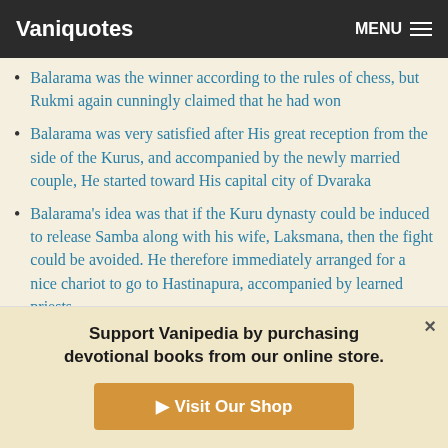Vaniquotes | MENU
Balarama was the winner according to the rules of chess, but Rukmi again cunningly claimed that he had won
Balarama was very satisfied after His great reception from the side of the Kurus, and accompanied by the newly married couple, He started toward His capital city of Dvaraka
Balarama’s idea was that if the Kuru dynasty could be induced to release Samba along with his wife, Laksmana, then the fight could be avoided. He therefore immediately arranged for a nice chariot to go to Hastinapura, accompanied by learned priests
Support Vanipedia by purchasing devotional books from our online store.
► Visit Our Shop